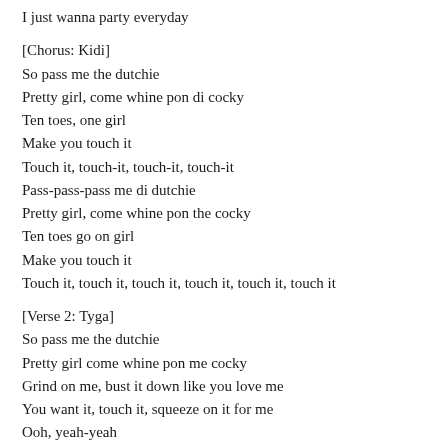I just wanna party everyday
[Chorus: Kidi]
So pass me the dutchie
Pretty girl, come whine pon di cocky
Ten toes, one girl
Make you touch it
Touch it, touch-it, touch-it, touch-it
Pass-pass-pass me di dutchie
Pretty girl, come whine pon the cocky
Ten toes go on girl
Make you touch it
Touch it, touch it, touch it, touch it, touch it, touch it
[Verse 2: Tyga]
So pass me the dutchie
Pretty girl come whine pon me cocky
Grind on me, bust it down like you love me
You want it, touch it, squeeze on it for me
Ooh, yeah-yeah